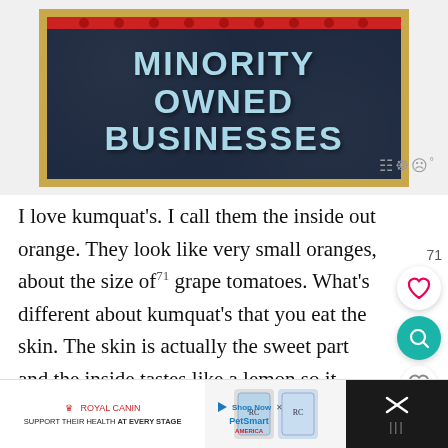[Figure (infographic): A chalkboard-style banner with gold/tan frame and dark navy background showing the text 'MINORITY OWNED BUSINESSES' in large light blue bold uppercase letters, with a red strip along the top with decorative dots]
I love kumquat's. I call them the inside out orange. They look like very small oranges, about the size of71 grape tomatoes. What's different about kumquat's that you eat the skin. The skin is actually the sweet part and the inside tastes like a lemon so it tastes both sweet and sour at the same time. It's very seasonal and usually only available in late Spring/early Summer, although you can find them
[Figure (infographic): Advertisement banner for Royal Canin cat food: 'SUPPORT THEIR HEALTH AT EVERY STAGE' with PetSmart branding and cat food product images]